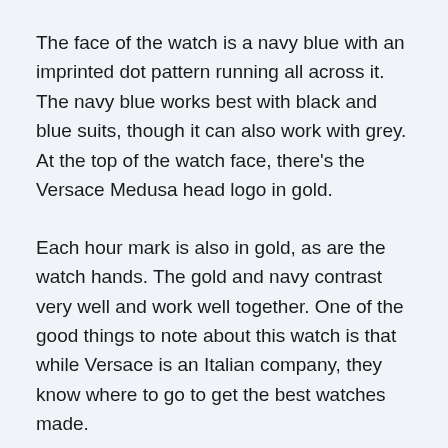The face of the watch is a navy blue with an imprinted dot pattern running all across it. The navy blue works best with black and blue suits, though it can also work with grey. At the top of the watch face, there's the Versace Medusa head logo in gold.
Each hour mark is also in gold, as are the watch hands. The gold and navy contrast very well and work well together. One of the good things to note about this watch is that while Versace is an Italian company, they know where to go to get the best watches made.
Where is Versace watch